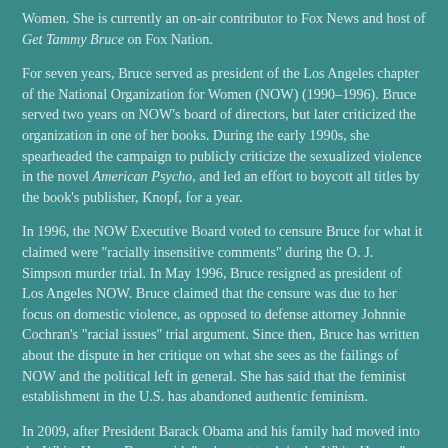Women. She is currently an on-air contributor to Fox News and host of Get Tammy Bruce on Fox Nation.
For seven years, Bruce served as president of the Los Angeles chapter of the National Organization for Women (NOW) (1990–1996). Bruce served two years on NOW's board of directors, but later criticized the organization in one of her books. During the early 1990s, she spearheaded the campaign to publicly criticize the sexualized violence in the novel American Psycho, and led an effort to boycott all titles by the book's publisher, Knopf, for a year.
In 1996, the NOW Executive Board voted to censure Bruce for what it claimed were "racially insensitive comments" during the O. J. Simpson murder trial. In May 1996, Bruce resigned as president of Los Angeles NOW. Bruce claimed that the censure was due to her focus on domestic violence, as opposed to defense attorney Johnnie Cochran's "racial issues" trial argument. Since then, Bruce has written about the dispute in her critique on what she sees as the failings of NOW and the political left in general. She has said that the feminist establishment in the U.S. has abandoned authentic feminism.
In 2009, after President Barack Obama and his family had moved into the White House, Bruce said, "we've got trash in the White House." Bruce was the subject of controversy in May 2017, when appearing